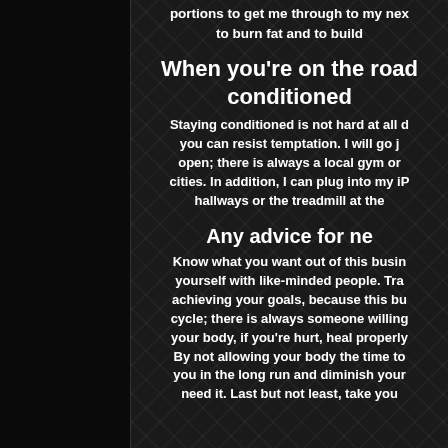portions to get me through to my nex… to burn fat and to build…
When you're on the road… conditioned…
Staying conditioned is not hard at all… you can resist temptation. I will go j… open; there is always a local gym or… cities. In addition, I can plug into my iP… hallways or the treadmill at the…
Any advice for ne…
Know what you want out of this busin… yourself with like-minded people. Tra… achieving your goals, because this bu… cycle; there is always someone willing… your body, if you're hurt, heal properly… By not allowing your body the time to… you in the long run and diminish your… need it. Last but not least, take you…